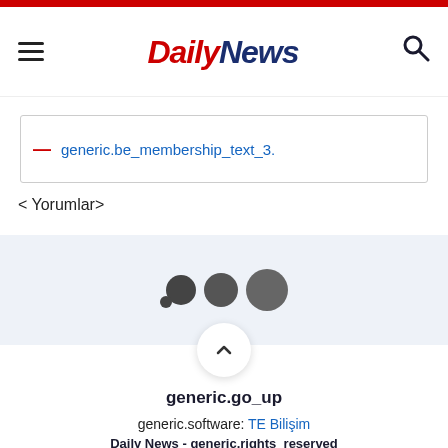DailyNews
generic.be_membership_text_3.
< Yorumlar>
[Figure (other): Three dark dots/circles grouped together as a loading or comment indicator]
[Figure (other): Chevron up arrow inside a white circle with shadow — scroll to top button]
generic.go_up
generic.software: TE Bilişim
Daily News - generic.rights_reserved